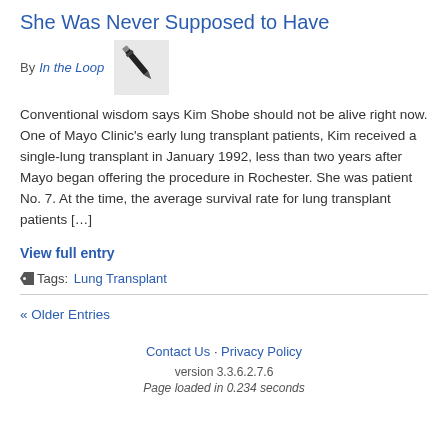She Was Never Supposed to Have
By In the Loop
[Figure (photo): Photo of a pen or writing instrument, small thumbnail image]
Conventional wisdom says Kim Shobe should not be alive right now. One of Mayo Clinic's early lung transplant patients, Kim received a single-lung transplant in January 1992, less than two years after Mayo began offering the procedure in Rochester. She was patient No. 7. At the time, the average survival rate for lung transplant patients […]
View full entry
Tags: Lung Transplant
« Older Entries
Contact Us · Privacy Policy
version 3.3.6.2.7.6
Page loaded in 0.234 seconds